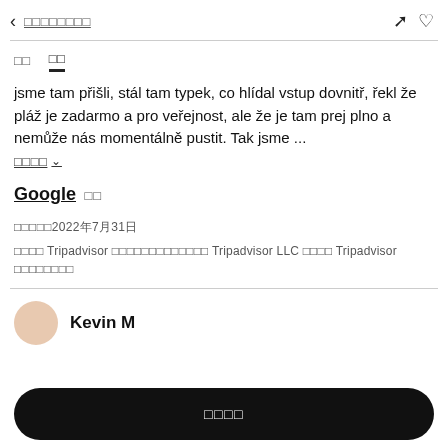< □□□□□□□□
□□  □□
jsme tam přišli, stál tam typek, co hlídal vstup dovnitř, řekl že pláž je zadarmo a pro veřejnost, ale že je tam prej plno a nemůže nás momentálně pustit. Tak jsme ...
□□□□ ∨
Google □□
□□□□□2022年7月31日
□□□□ Tripadvisor □□□□□□□□□□□□□ Tripadvisor LLC □□□□ Tripadvisor □□□□□□□□
Kevin M